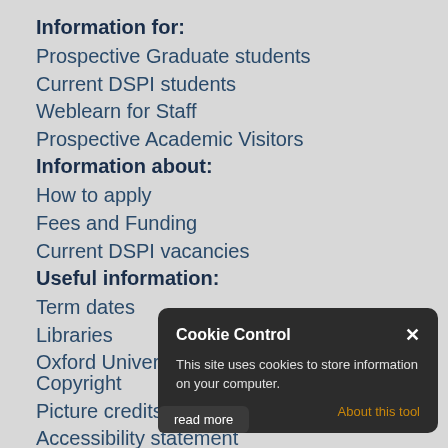Information for:
Prospective Graduate students
Current DSPI students
Weblearn for Staff
Prospective Academic Visitors
Information about:
How to apply
Fees and Funding
Current DSPI vacancies
Useful information:
Term dates
Libraries
Oxford University homepage
Copyright
Picture credits
Accessibility statement
Privacy Statement
Cookie Control
This site uses cookies to store information on your computer.
About this tool
read more